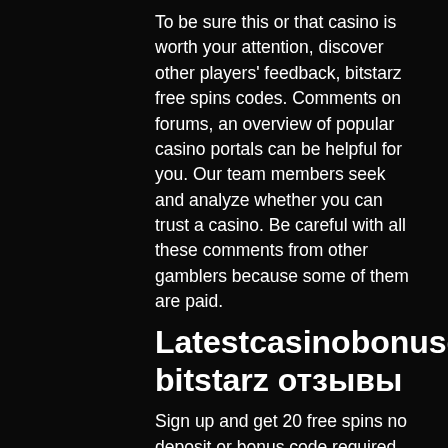To be sure this or that casino is worth your attention, discover other players' feedback, bitstarz free spins codes. Comments on forums, an overview of popular casino portals can be helpful for you. Our team members seek and analyze whether you can trust a casino. Be careful with all these comments from other gamblers because some of them are paid.
Latestcasinobonuses bitstarz отзывы
Sign up and get 20 free spins no deposit or bonus code required sign up now terms and conditions. Bitstarz casino bonus &amp; promo codes (2021) ✓. Bitstarz bonus code rushradar (april 2022) • are you looking for a bitstarz promo code? get the best crypto casino offers! Players receive free spins as well as the bitstarz welcome package. A bitstarz free spins code is a unique, special